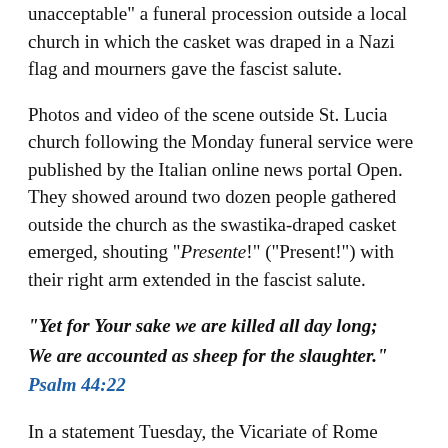unacceptable" a funeral procession outside a local church in which the casket was draped in a Nazi flag and mourners gave the fascist salute.
Photos and video of the scene outside St. Lucia church following the Monday funeral service were published by the Italian online news portal Open. They showed around two dozen people gathered outside the church as the swastika-draped casket emerged, shouting “Presente!” (“Present!”) with their right arm extended in the fascist salute.
“Yet for Your sake we are killed all day long;
We are accounted as sheep for the slaughter.” Psalm 44:22
In a statement Tuesday, the Vicariate of Rome strongly condemned the scene and stressed that neither the parish priest, nor the priest who celebrated the funeral, knew